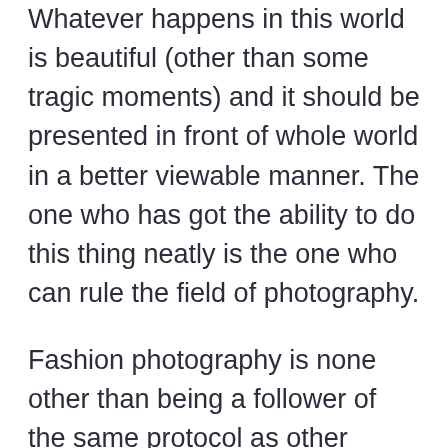Whatever happens in this world is beautiful (other than some tragic moments) and it should be presented in front of whole world in a better viewable manner. The one who has got the ability to do this thing neatly is the one who can rule the field of photography.
Fashion photography is none other than being a follower of the same protocol as other branches of the photography. Fashion photography is widely used mainly for the purpose to set trends. It is not an easy task to make people fall for your style, but if done seriously, it is very much possible to make the world flow with you.
Ch...